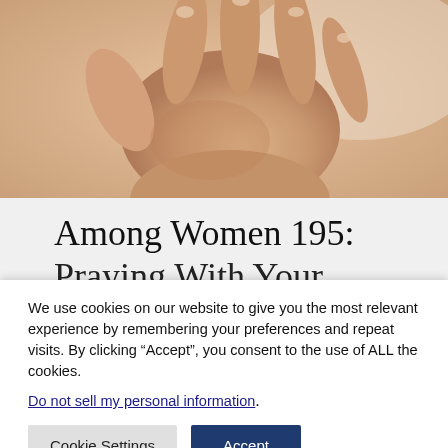[Figure (photo): Close-up photograph of a baby's open hand with fingers spread, warm skin tones against a light background.]
Among Women 195: Praying With Your
We use cookies on our website to give you the most relevant experience by remembering your preferences and repeat visits. By clicking “Accept”, you consent to the use of ALL the cookies.
Do not sell my personal information.
Cookie Settings
Accept